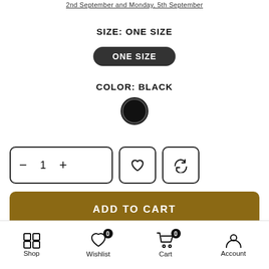2nd September and Monday, 5th September
SIZE: ONE SIZE
ONE SIZE
COLOR: BLACK
[Figure (illustration): Black filled circle with a dark border ring representing the color black selection]
[Figure (infographic): Product quantity selector with minus button, quantity 1, plus button; heart/wishlist icon button; refresh/sync icon button]
ADD TO CART
⌛ ONLY 9 LEFT IN STOCK.
Shop | Wishlist 0 | Cart 0 | Account